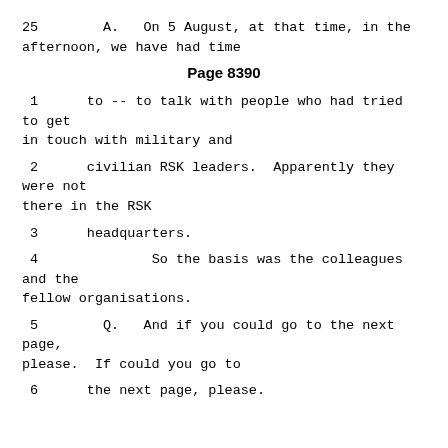25        A.   On 5 August, at that time, in the afternoon, we have had time
Page 8390
1      to -- to talk with people who had tried to get in touch with military and
2      civilian RSK leaders.  Apparently they were not there in the RSK
3      headquarters.
4              So the basis was the colleagues and the fellow organisations.
5        Q.   And if you could go to the next page, please.  If could you go to
6      the next page, please.